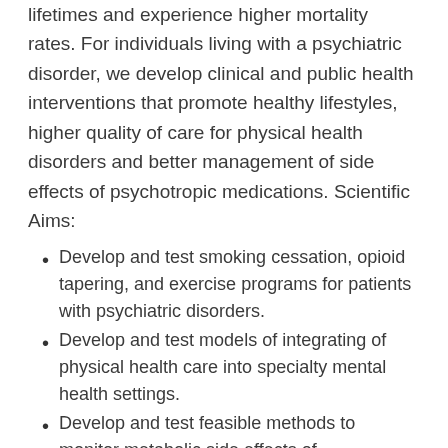lifetimes and experience higher mortality rates. For individuals living with a psychiatric disorder, we develop clinical and public health interventions that promote healthy lifestyles, higher quality of care for physical health disorders and better management of side effects of psychotropic medications. Scientific Aims:
Develop and test smoking cessation, opioid tapering, and exercise programs for patients with psychiatric disorders.
Develop and test models of integrating of physical health care into specialty mental health settings.
Develop and test feasible methods to monitor metabolic side effects of psychotropic medications.
Develop and test clinical and public health interventions to prevent suicide.